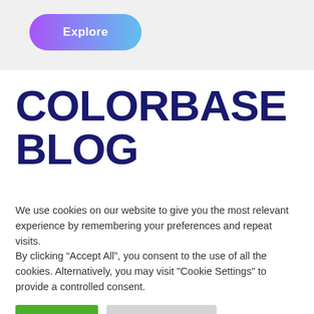[Figure (other): Rounded pill-shaped button with purple-to-blue gradient background, white bold text reading 'Explore']
COLORBASE BLOG
We use cookies on our website to give you the most relevant experience by remembering your preferences and repeat visits.
By clicking “Accept All”, you consent to the use of all the cookies. Alternatively, you may visit "Cookie Settings" to provide a controlled consent.
Accept All
Cookie Settings